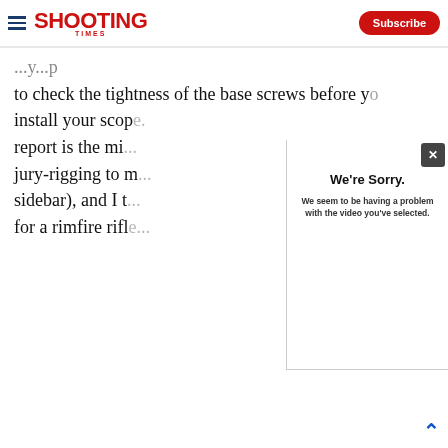SHOOTING TIMES | Subscribe
to check the tightness of the base screws before you install your scope. report is the mi... jury-rigging to m... sidebar), and I t... for a rimfire rifl...
[Figure (screenshot): Video error modal overlay: 'We're Sorry. We seem to be having a problem with the video you've selected.' with a close X button]
[Figure (photo): Photo strip showing a rifle scope on a wooden surface]
We use cookies to provide you with the best experience in Outdoors programming. Click accept to continue or read about our Privacy Policy.
Advertisement
[Figure (infographic): Federal Premium advertisement: NEW FEDERAL HIGH OVER ALL MORE RELOADS.]